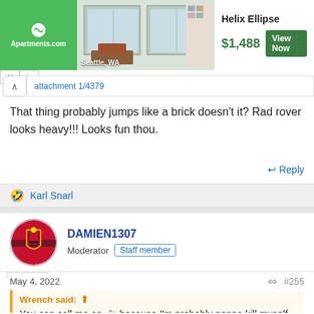[Figure (photo): Apartments.com advertisement banner showing an apartment interior photo with text 'Helix Ellipse', price '$1,488', and 'View Now' button. Location: Seattle, WA.]
attachment 1/4379
That thing probably jumps like a brick doesn't it? Rad rover looks heavy!!! Looks fun thou.
Reply
🤣 Karl Snarl
DAMIEN1307
Moderator  Staff member
May 4, 2022  #255
Wrench said:
You can call me an 🚑 because I'm probably gonna kill myself on the...